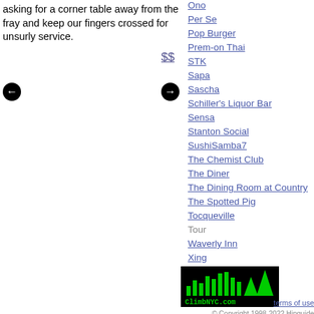asking for a corner table away from the fray and keep our fingers crossed for unsurly service.
Ono
Per Se
Pop Burger
Prem-on Thai
STK
Sapa
Sascha
Schiller's Liquor Bar
Sensa
Stanton Social
SushiSamba7
The Chemist Club
The Diner
The Dining Room at Country
The Spotted Pig
Tocqueville
Tour
Waverly Inn
Xing
[Figure (logo): ClimbNYC.com logo — black background with green bar-chart skyline graphic and green monospace text]
terms of use · © Copyright 1998-2022 Hipguide